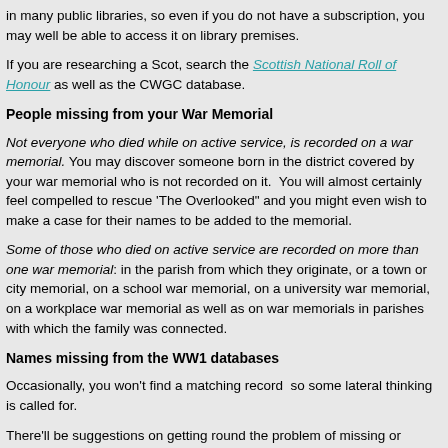in many public libraries, so even if you do not have a subscription, you may well be able to access it on library premises.
If you are researching a Scot, search the Scottish National Roll of Honour as well as the CWGC database.
People missing from your War Memorial
Not everyone who died while on active service, is recorded on a war memorial. You may discover someone born in the district covered by your war memorial who is not recorded on it. You will almost certainly feel compelled to rescue ‘The Overlooked” and you might even wish to make a case for their names to be added to the memorial.
Some of those who died on active service are recorded on more than one war memorial: in the parish from which they originate, or a town or city memorial, on a school war memorial, on a university war memorial, on a workplace war memorial as well as on war memorials in parishes with which the family was connected.
Names missing from the WW1 databases
Occasionally, you won’t find a matching record  so some lateral thinking is called for.
There’ll be suggestions on getting round the problem of missing or overlooked